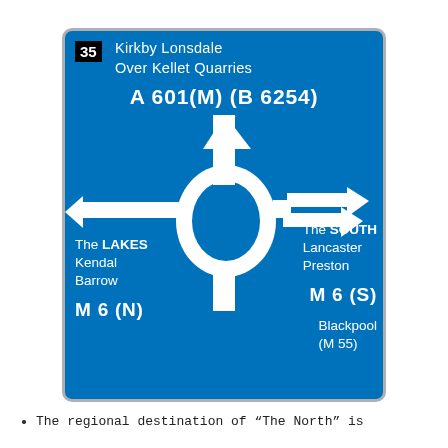[Figure (infographic): UK motorway roundabout directional sign, number 35. Top: Kirkby Lonsdale, Over Kellet Quarries, A601(M)(B6254). Left arrow: The LAKES, Kendal, Barrow, M6(N). Right arrows: The SOUTH, Lancaster, Preston, M6(S), Blackpool, (M55). Roundabout symbol in center.]
The regional destination of "The North" is